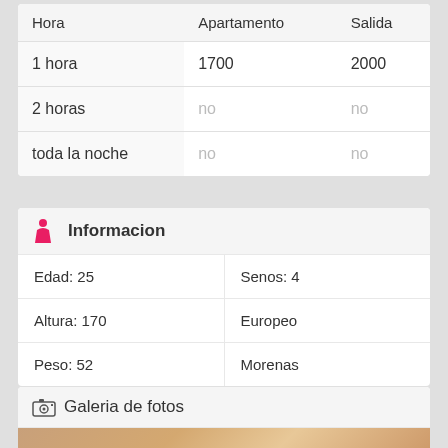| Hora | Apartamento | Salida |
| --- | --- | --- |
| 1 hora | 1700 | 2000 |
| 2 horas | no | no |
| toda la noche | no | no |
Informacion
| Edad: 25 | Senos: 4 |
| Altura: 170 | Europeo |
| Peso: 52 | Morenas |
Galeria de fotos
[Figure (photo): Partial photo of a person, cropped at bottom of page]